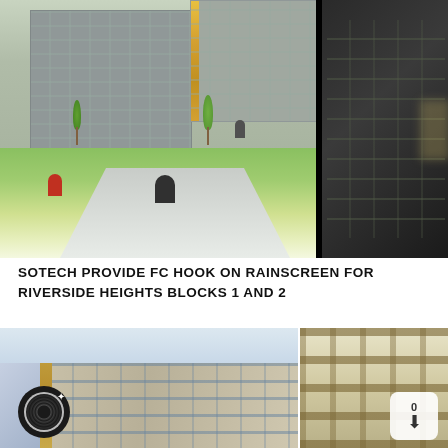[Figure (photo): Architectural rendering of Riverside Heights residential blocks with green landscaping, cycling path, and pedestrians in foreground. Dark building photograph on right side.]
SOTECH PROVIDE FC HOOK ON RAINSCREEN FOR RIVERSIDE HEIGHTS BLOCKS 1 AND 2
[Figure (photo): Upward angle photograph of a tall modern residential building with cladding and glazing panels.]
[Figure (photo): Close-up photograph of gold/bronze horizontal beam cladding on a building facade.]